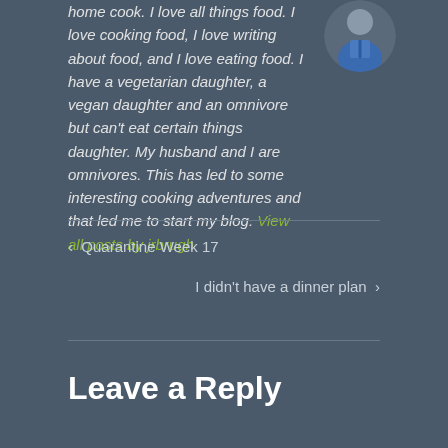home cook. I love all things food. I love cooking food, I love writing about food, and I love eating food. I have a vegetarian daughter, a vegan daughter and an omnivore but can't eat certain things daughter. My husband and I are omnivores. This has led to some interesting cooking adventures and that led me to start my blog. View all posts by jrbrugh
[Figure (photo): Circular avatar photo of a person wearing a blue apron]
‹  Quarantine Week 17
I didn't have a dinner plan  ›
Leave a Reply